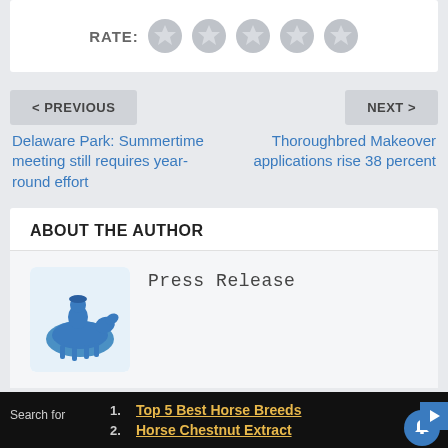RATE:
[Figure (other): Five grey star rating icons in a row]
< PREVIOUS
NEXT >
Delaware Park: Summertime meeting still requires year-round effort
Thoroughbred Makeover applications rise 38 percent
ABOUT THE AUTHOR
[Figure (illustration): Blue horse and jockey silhouette icon on white rounded square background]
Press Release
Search for
1. Top 5 Best Horse Breeds
2. Horse Chestnut Extract